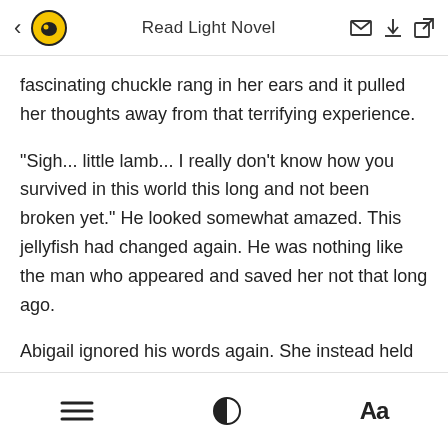Read Light Novel
fascinating chuckle rang in her ears and it pulled her thoughts away from that terrifying experience.
"Sigh... little lamb... I really don't know how you survived in this world this long and not been broken yet." He looked somewhat amazed. This jellyfish had changed again. He was nothing like the man who appeared and saved her not that long ago.
Abigail ignored his words again. She instead held out her palm before him, silently asking for the contract.
≡  ◑  Aa